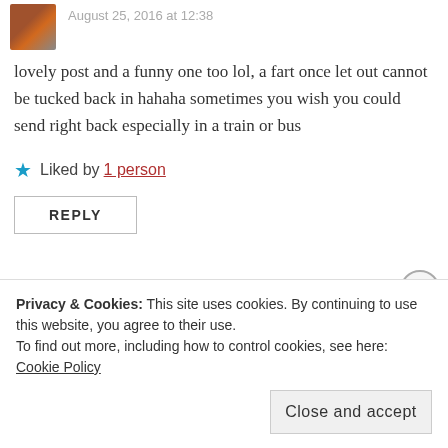August 25, 2016 at 12:38
lovely post and a funny one too lol, a fart once let out cannot be tucked back in hahaha sometimes you wish you could send right back especially in a train or bus
Liked by 1 person
REPLY
Nedoux
September 28, 2016 at 14:19
Hi Kewrites,
Privacy & Cookies: This site uses cookies. By continuing to use this website, you agree to their use.
To find out more, including how to control cookies, see here: Cookie Policy
Close and accept